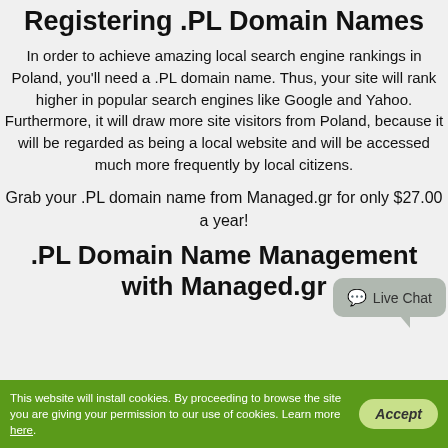Registering .PL Domain Names
In order to achieve amazing local search engine rankings in Poland, you'll need a .PL domain name. Thus, your site will rank higher in popular search engines like Google and Yahoo. Furthermore, it will draw more site visitors from Poland, because it will be regarded as being a local website and will be accessed much more frequently by local citizens.
Grab your .PL domain name from Managed.gr for only $27.00 a year!
.PL Domain Name Management with Managed.gr
This website will install cookies. By proceeding to browse the site you are giving your permission to our use of cookies. Learn more here.